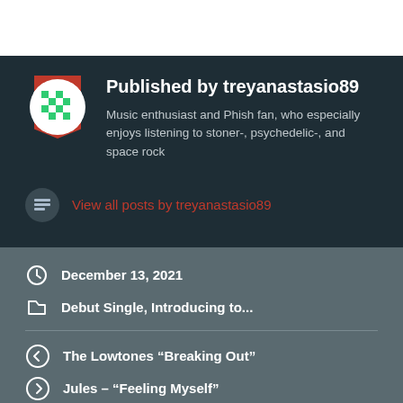Published by treyanastasio89
Music enthusiast and Phish fan, who especially enjoys listening to stoner-, psychedelic-, and space rock
View all posts by treyanastasio89
December 13, 2021
Debut Single, Introducing to...
The Lowtones “Breaking Out”
Jules – “Feeling Myself”